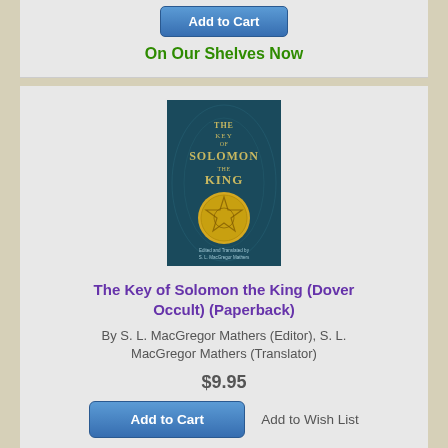[Figure (screenshot): Blue Add to Cart button (partial top card)]
On Our Shelves Now
[Figure (photo): Book cover: The Key of Solomon the King, teal/dark blue background with gold medallion]
The Key of Solomon the King (Dover Occult) (Paperback)
By S. L. MacGregor Mathers (Editor), S. L. MacGregor Mathers (Translator)
$9.95
Add to Wish List
[Figure (screenshot): Blue Add to Cart button]
On Our Shelves Now
[Figure (photo): Partial book cover: Alejandro Jodorowsky title, face on cover]